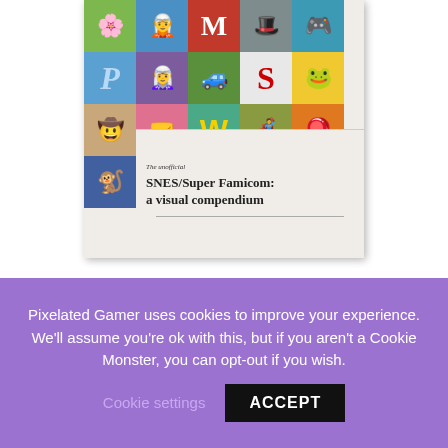[Figure (illustration): Book cover for 'The unofficial SNES/Super Famicom: a visual compendium' featuring a grid of colorful retro video game character icons on colored squares, with the book title displayed in the lower right portion of the cover.]
COMING SOON
SNES/Super Famicom: a visual compendium
★★★★★ 125 reviews
Pixelated Gamer uses cookies to improve your experience. We'll assume you're ok with this, but if you aren't a Cookie Monster, you can opt-out if you wish.  Cookie settings  ACCEPT